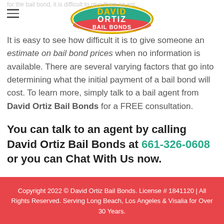[Figure (logo): David Ortiz Bail Bonds logo — oval shape with teal/gold/red colors and text 'DAVID ORTIZ BAIL BONDS']
It is easy to see how difficult it is to give someone an estimate on bail bond prices when no information is available. There are several varying factors that go into determining what the initial payment of a bail bond will cost. To learn more, simply talk to a bail agent from David Ortiz Bail Bonds for a FREE consultation.
You can talk to an agent by calling David Ortiz Bail Bonds at 661-326-0608 or you can Chat With Us now.
Copyright 2022 © David Ortiz Bail Bonds. License # 1841120 | All Rights Reserved. Serving Long Beach, Los Angeles & Visalia for Over 30 Years.